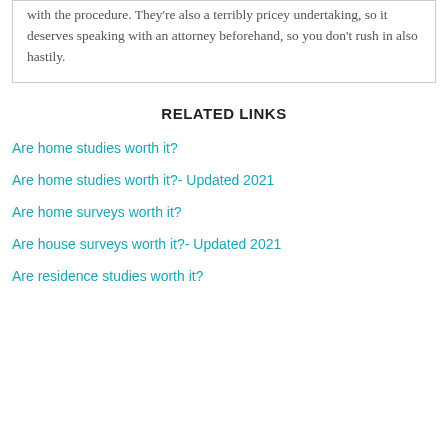with the procedure. They're also a terribly pricey undertaking, so it deserves speaking with an attorney beforehand, so you don't rush in also hastily.
RELATED LINKS
Are home studies worth it?
Are home studies worth it?- Updated 2021
Are home surveys worth it?
Are house surveys worth it?- Updated 2021
Are residence studies worth it?